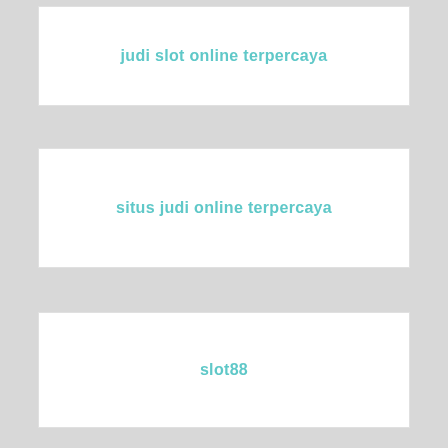judi slot online terpercaya
situs judi online terpercaya
slot88